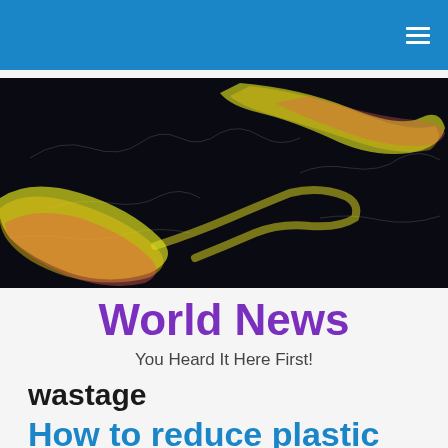[Figure (illustration): Abstract dark image with swirling yellow and pink/red glowing streaks resembling ocean currents or plasma flows on a black background with faint white outlines.]
World News
You Heard It Here First!
wastage
How to reduce plastic